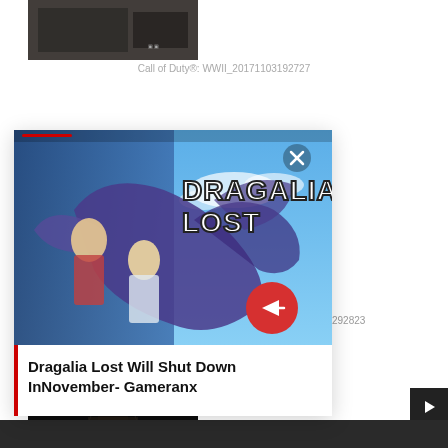[Figure (screenshot): Call of Duty WWII game screenshot, dark scene]
Call of Duty®: WWII_20171103192727
[Figure (screenshot): Dragalia Lost game promotional image with anime-style characters and blue dragon, with red nav bar at top and red arrow button. Overlapping card element.]
Dragalia Lost Will Shut Down InNovember- Gameranx
292823
[Figure (screenshot): Dark hallway game screenshot, bottom of page]